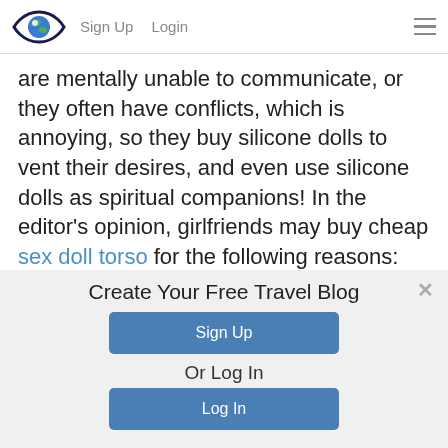Sign Up  Login
are mentally unable to communicate, or they often have conflicts, which is annoying, so they buy silicone dolls to vent their desires, and even use silicone dolls as spiritual companions! In the editor's opinion, girlfriends may buy cheap sex doll torso for the following reasons: Because they are relatively home (such as playing games or
Create Your Free Travel Blog
Sign Up
Or Log In
Log In